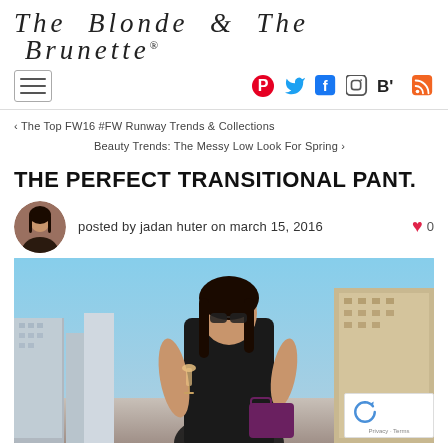The Blonde & The Brunette®
[Figure (screenshot): Navigation bar with hamburger menu icon on left and social media icons (Pinterest, Twitter, Facebook, Instagram, Bloglovin, RSS) on right]
‹ The Top FW16 #FW Runway Trends & Collections
Beauty Trends: The Messy Low Look For Spring ›
THE PERFECT TRANSITIONAL PANT.
posted by jadan huter on march 15, 2016
[Figure (photo): Woman with long brown hair and sunglasses, wearing a black crop top, holding a wine glass on a rooftop with city skyline buildings in background]